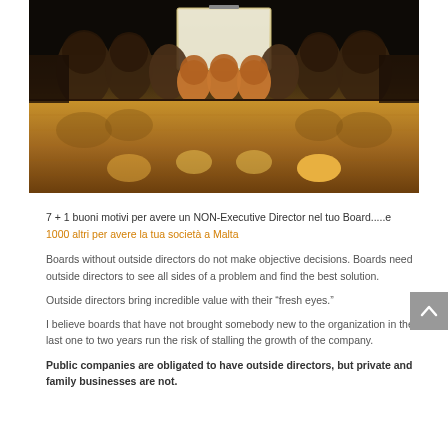[Figure (photo): Boardroom with long wooden conference table and leather chairs arranged on both sides, with a presentation screen at the far end. Reflections visible on the polished table surface.]
7 + 1 buoni motivi per avere un NON-Executive Director nel tuo Board.....e
1000 altri per avere la tua società a Malta
Boards without outside directors do not make objective decisions. Boards need outside directors to see all sides of a problem and find the best solution.
Outside directors bring incredible value with their “fresh eyes.”
I believe boards that have not brought somebody new to the organization in the last one to two years run the risk of stalling the growth of the company.
Public companies are obligated to have outside directors, but private and family businesses are not.